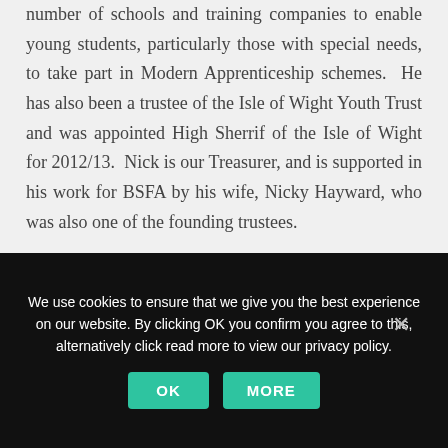number of schools and training companies to enable young students, particularly those with special needs, to take part in Modern Apprenticeship schemes. He has also been a trustee of the Isle of Wight Youth Trust and was appointed High Sherrif of the Isle of Wight for 2012/13. Nick is our Treasurer, and is supported in his work for BSFA by his wife, Nicky Hayward, who was also one of the founding trustees.
[Figure (photo): Circular portrait photo of a person with grey hair outdoors with green foliage background]
We use cookies to ensure that we give you the best experience on our website. By clicking OK you confirm you agree to this, alternatively click read more to view our privacy policy.